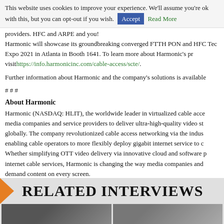This website uses cookies to improve your experience. We'll assume you're ok with this, but you can opt-out if you wish. Accept Read More
providers. HFC and ARPE and you!
Harmonic will showcase its groundbreaking converged FTTH PON and HFC Tec Expo 2021 in Atlanta in Booth 1641. To learn more about Harmonic's pr visit https://info.harmonicinc.com/cable-access/scte/.
Further information about Harmonic and the company's solutions is available # # #
About Harmonic
Harmonic (NASDAQ: HLIT), the worldwide leader in virtualized cable acce media companies and service providers to deliver ultra-high-quality video st globally. The company revolutionized cable access networking via the indus enabling cable operators to more flexibly deploy gigabit internet service to c Whether simplifying OTT video delivery via innovative cloud and software i internet cable services, Harmonic is changing the way media companies and demand content on every screen.
Tags: Distributed Access Architecture | CableOS Cloud Native Platform | FTTH |
Submitted by 202 Communications
View author's directory page
Make Bookmark in: Delicious Digg reddit Facebook S
RELATED INTERVIEWS
[Figure (photo): Two thumbnail images for related interviews section]